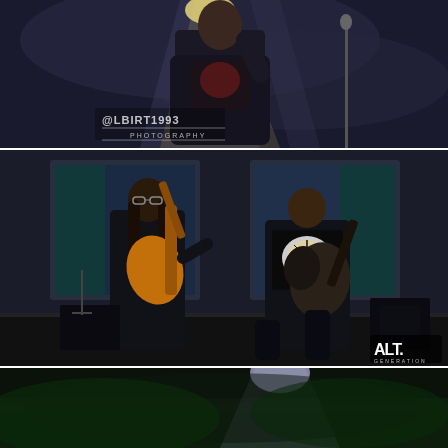[Figure (photo): Concert photo of a vocalist on stage performing under dramatic stage lighting with haze/smoke, wearing a dark jacket over a graphic tee, raising one hand. Watermark '@LBIRT1993 PHOTOGRAPHY' visible in lower left area.]
[Figure (photo): Concert photo of two guitarists performing on stage. Left guitarist has long hair and glasses, playing an amber/orange Les Paul style guitar. Right guitarist is bald/shaved head, wearing a black graphic t-shirt, playing a dark patterned guitar in a wide stance. Stage has large LED screens in background. ALT. logo watermark in lower right corner.]
[Figure (photo): Partial concert photo at bottom of page showing green stage lighting with dark background, only the top portion visible.]